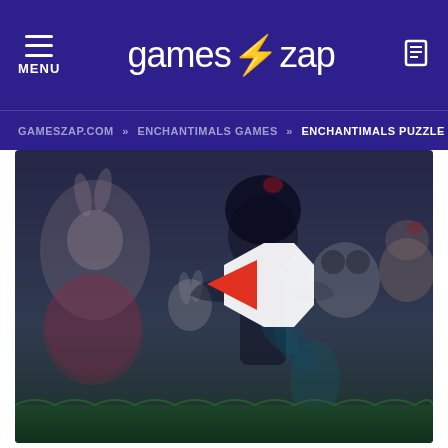MENU | games⚡zap
GAMESZAP.COM » ENCHANTIMALS GAMES » ENCHANTIMALS PUZZLE
[Figure (screenshot): Video thumbnail showing Enchantimals dolls characters on a grassy background with a play button overlay in the center. Characters include a bunny girl in floral dress, a dark bat-themed doll, a peacock fairy, and a bear character on the right.]